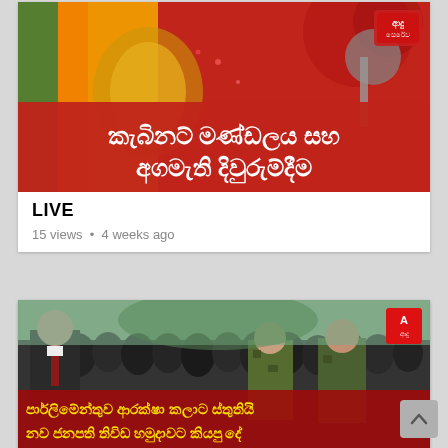[Figure (screenshot): Video thumbnail with red background, Sri Lankan flag, and Sinhala text: කැබිනට් මණ්ඩලය සහ අගමැති දිවුරුම්දීම]
LIVE
15 views • 4 weeks ago
[Figure (photo): Photo of officials including a man in suit and military personnel in camouflage, with Sinhala text overlay: පාර්ලිමේන්තුව ආරක්ෂා කලාට ස්තුතියි නව ජනපති තිවිඩ හමුදාවට කියපු දේ]
පාර්ලිමේන්තුව ආරක්ෂා කලාට ස්තුතියි නව ජනපති තිවිඩ හමුදාවට කියපු දේ